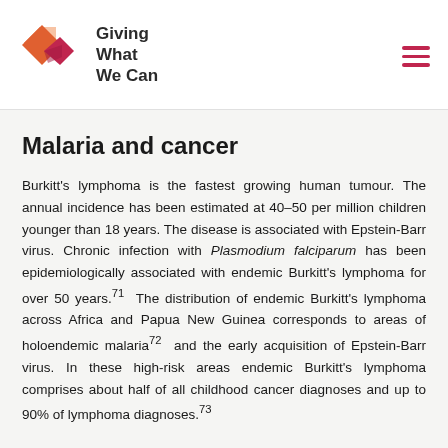Giving What We Can
Malaria and cancer
Burkitt's lymphoma is the fastest growing human tumour. The annual incidence has been estimated at 40–50 per million children younger than 18 years. The disease is associated with Epstein-Barr virus. Chronic infection with Plasmodium falciparum has been epidemiologically associated with endemic Burkitt's lymphoma for over 50 years.71  The distribution of endemic Burkitt's lymphoma across Africa and Papua New Guinea corresponds to areas of holoendemic malaria72  and the early acquisition of Epstein-Barr virus. In these high-risk areas endemic Burkitt's lymphoma comprises about half of all childhood cancer diagnoses and up to 90% of lymphoma diagnoses.73